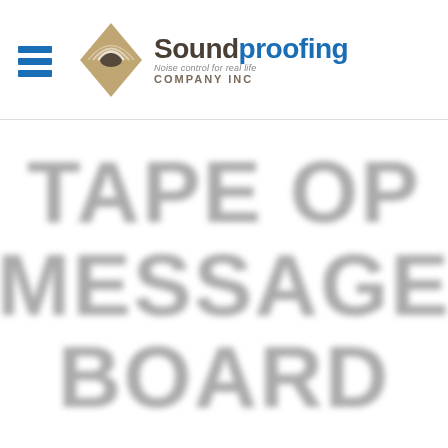[Figure (logo): Soundproofing Company Inc logo with diamond/sound-wave mark, hamburger menu icon, tagline 'Noise control for real life']
TAPE OP MESSAGE BOARD